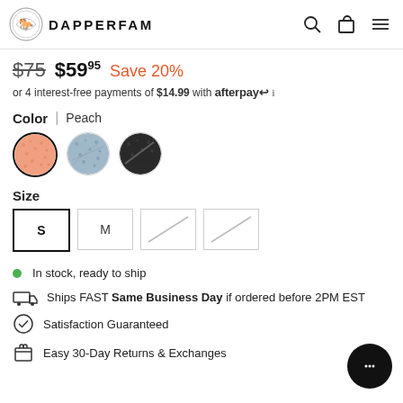DAPPERFAM
$75  $59.95  Save 20%
or 4 interest-free payments of $14.99 with afterpay
Color | Peach
[Figure (other): Three color swatches: Peach (selected, coral/salmon texture), Light Blue (blue-grey speckled texture), Dark/Black (dark speckled texture)]
Size
[Figure (other): Four size buttons: S (selected/active with bold border), M, and two unavailable sizes with diagonal strikethrough lines]
In stock, ready to ship
Ships FAST Same Business Day if ordered before 2PM EST
Satisfaction Guaranteed
Easy 30-Day Returns & Exchanges